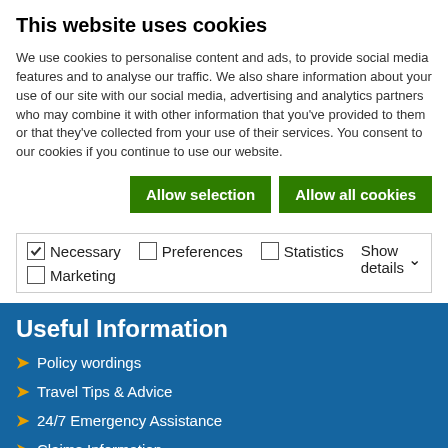This website uses cookies
We use cookies to personalise content and ads, to provide social media features and to analyse our traffic. We also share information about your use of our site with our social media, advertising and analytics partners who may combine it with other information that you've provided to them or that they've collected from your use of their services. You consent to our cookies if you continue to use our website.
Allow selection | Allow all cookies
Necessary  Preferences  Statistics  Marketing | Show details
Useful Information
Policy wordings
Travel Tips & Advice
24/7 Emergency Assistance
Claims Information
Refer a Friend
Corporate
About Us